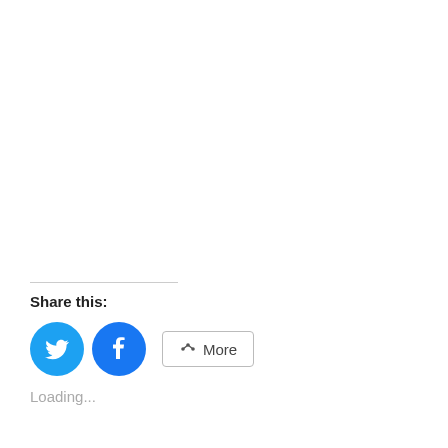Share this:
[Figure (other): Twitter and Facebook share buttons, plus a More button with share icon]
Loading...